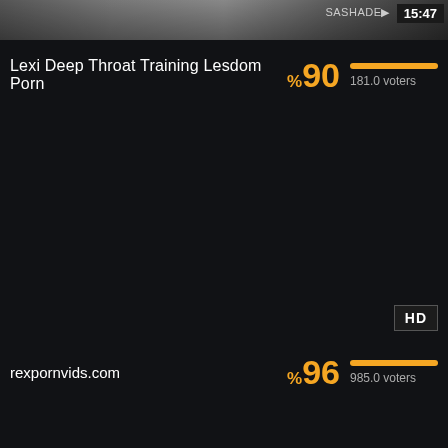[Figure (screenshot): Thumbnail strip of a video at top of page, dark background with figures visible, username SASHADE and timestamp 15:47 overlaid top right]
Lexi Deep Throat Training Lesdom Porn
%90  181.0 voters
HD
rexpornvids.com
%96  985.0 voters